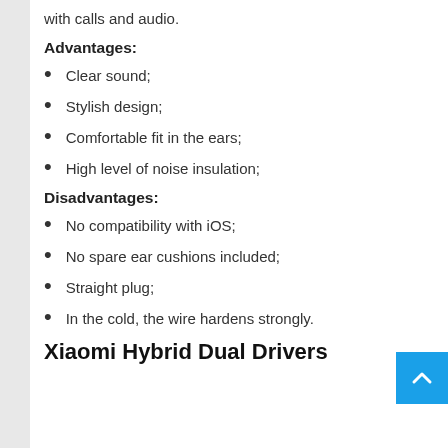with calls and audio.
Advantages:
Clear sound;
Stylish design;
Comfortable fit in the ears;
High level of noise insulation;
Disadvantages:
No compatibility with iOS;
No spare ear cushions included;
Straight plug;
In the cold, the wire hardens strongly.
Xiaomi Hybrid Dual Drivers